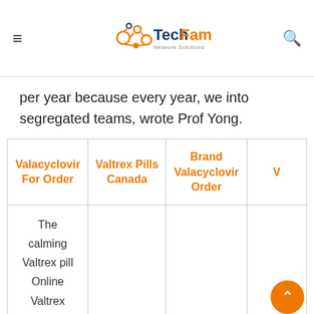TechFam Network Solutions
per year because every year, we into segregated teams, wrote Prof Yong.
| Valacyclovir For Order | Valtrex Pills Canada | Brand Valacyclovir Order |  |
| --- | --- | --- | --- |
| The calming Valtrex pill Online Valtrex |  |  |  |